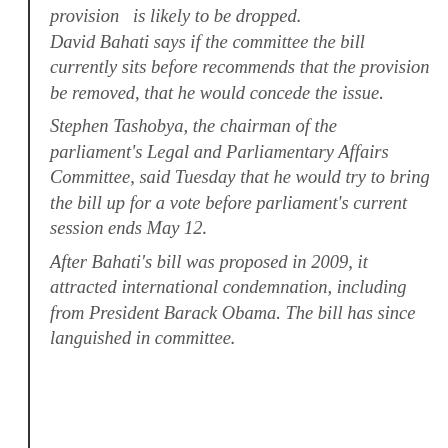provision is likely to be dropped. David Bahati says if the committee the bill currently sits before recommends that the provision be removed, that he would concede the issue. Stephen Tashobya, the chairman of the parliament's Legal and Parliamentary Affairs Committee, said Tuesday that he would try to bring the bill up for a vote before parliament's current session ends May 12. After Bahati's bill was proposed in 2009, it attracted international condemnation, including from President Barack Obama. The bill has since languished in committee.